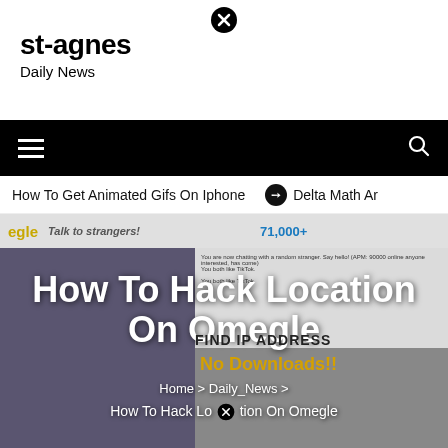st-agnes
Daily News
[Figure (screenshot): Navigation bar with hamburger menu icon on left and search icon on right, black background]
How To Get Animated Gifs On Iphone    ⊙ Delta Math Ar
[Figure (screenshot): Omegle website screenshot showing video chat interface with a person visible on the left, chat text in the middle, and sidebar on the right. Overlaid with large white bold text 'How To Hack Location On Omegle' and gold text 'No Downloads!!' and dark text 'FIND IP ADDRESS']
Home > Daily_News >
How To Hack Location On Omegle